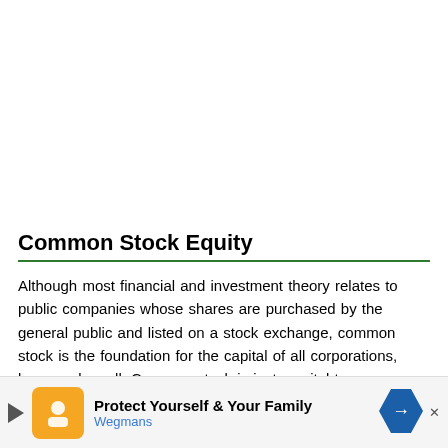Common Stock Equity
Although most financial and investment theory relates to public companies whose shares are purchased by the general public and listed on a stock exchange, common stock is the foundation for the capital of all corporations, large and small. Common stock is just as vital to a one-person company whose owner owns 100 percent of the stock as it is to the world's largest public companies such as IBM, Apple and a company
[Figure (other): Advertisement banner: Wegmans — Protect Yourself & Your Family]